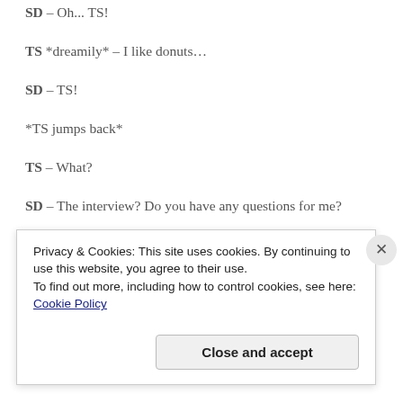SD – Oh... TS!
TS *dreamily* – I like donuts...
SD – TS!
*TS jumps back*
TS – What?
SD – The interview? Do you have any questions for me?
TS – Oh, yes. I do have a question for you. What's it like working on so many blogs at once? I'm considering joining
Privacy & Cookies: This site uses cookies. By continuing to use this website, you agree to their use.
To find out more, including how to control cookies, see here: Cookie Policy
Close and accept